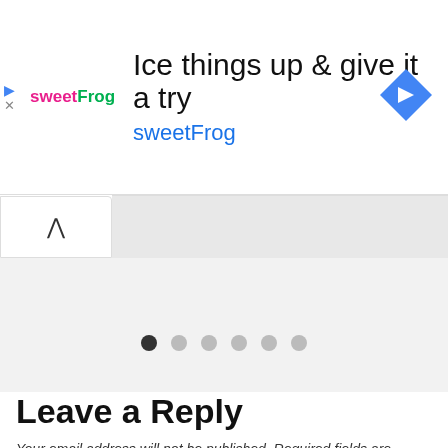[Figure (other): Advertisement banner for sweetFrog frozen yogurt. Shows sweetFrog logo on the left, headline text 'Ice things up & give it a try' and brand name 'sweetFrog' in cyan/teal, with a blue diamond-shaped navigation arrow icon on the right.]
[Figure (other): Navigation carousel area with an up-caret chevron button on the left and a gray tab area on the right.]
[Figure (other): Pagination dots: one dark/active dot followed by five lighter gray dots.]
Leave a Reply
Your email address will not be published. Required fields are